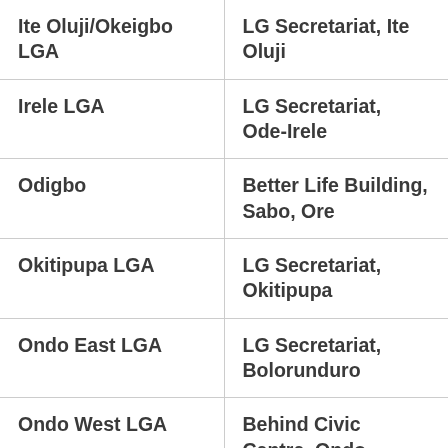| Ite Oluji/Okeigbo LGA | LG Secretariat, Ite Oluji |
| Irele LGA | LG Secretariat, Ode-Irele |
| Odigbo | Better Life Building, Sabo, Ore |
| Okitipupa LGA | LG Secretariat, Okitipupa |
| Ondo East LGA | LG Secretariat, Bolorunduro |
| Ondo West LGA | Behind Civic Centre, Ondo |